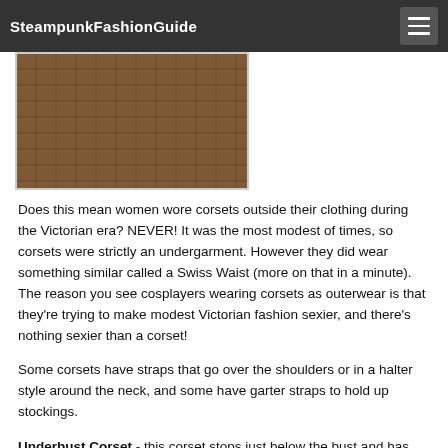SteampunkFashionGuide
[Figure (photo): Photo of a steampunk outfit showing a corset/belt area with leather belt and buckle over brown fabric, brick wall background]
Does this mean women wore corsets outside their clothing during the Victorian era? NEVER! It was the most modest of times, so corsets were strictly an undergarment. However they did wear something similar called a Swiss Waist (more on that in a minute). The reason you see cosplayers wearing corsets as outerwear is that they're trying to make modest Victorian fashion sexier, and there's nothing sexier than a corset!
Some corsets have straps that go over the shoulders or in a halter style around the neck, and some have garter straps to hold up stockings.
Underbust Corset - this corset stops just below the bust and has open cups, so it needs to be worn over a dress or blouse. If you want to increase the sex appeal, wear it with just a bra, bikini top, tube top or pasties.